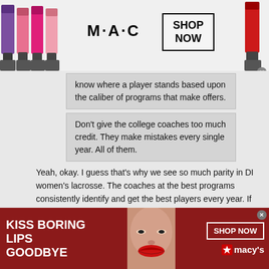[Figure (advertisement): MAC cosmetics ad banner at top with colorful lipsticks on left and right, MAC logo in center, SHOP NOW button in black border box]
know where a player stands based upon the caliber of programs that make offers.
Don't give the college coaches too much credit. They make mistakes every single year. All of them.
Yeah, okay. I guess that's why we see so much parity in DI women's lacrosse. The coaches at the best programs consistently identify and get the best players every year. If they were making a lot of mistakes it wouldn't be the same 10 - 15 programs always finishing the season ranked in the top 10 or 20. The reality is that there is a limited number of legitimate top tier talent and the large majority of that talent ends up at the top programs.
[Figure (advertisement): Macy's lipstick ad at bottom: dark red background, KISS BORING LIPS GOODBYE text on left, woman's face with red lips in center, SHOP NOW button and Macy's star logo on right]